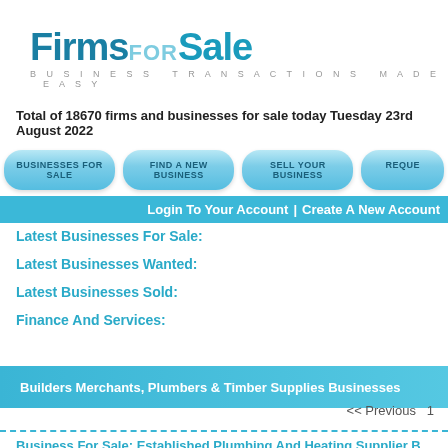FirmsForSale - BUSINESS TRANSACTIONS MADE EASY
Total of 18670 firms and businesses for sale today Tuesday 23rd August 2022
[Figure (screenshot): Navigation buttons: BUSINESSES FOR SALE, FIND A NEW BUSINESS, SELL YOUR BUSINESS, REQUE...]
Login To Your Account | Create A New Account
Latest Businesses For Sale:
Latest Businesses Wanted:
Latest Businesses Sold:
Finance And Services:
Builders Merchants, Plumbers & Timber Supplies Businesses
<< Previous  1
Business For Sale: Established Plumbing And Heating Supplier B...